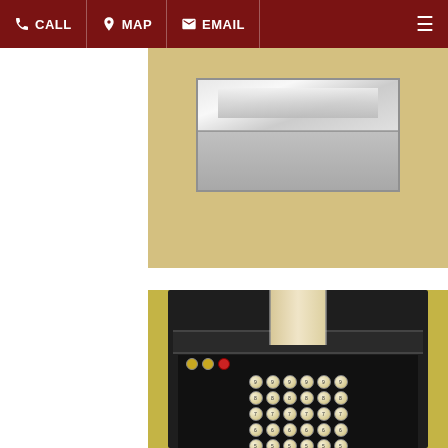CALL | MAP | EMAIL
[Figure (photo): Top-down view of a metal tray or case on a yellow surface, with chrome/silver metallic finish and reflective surface.]
[Figure (photo): Vintage black adding machine with paper roll tape and numbered keys arranged in columns, viewed from above on a yellow surface.]